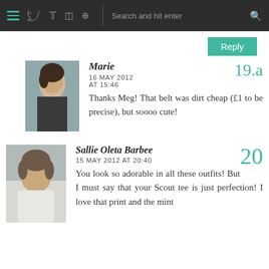Navigation bar with hamburger menu, social icons (twitter, instagram, pinterest), search bar
Reply
Marie
16 MAY 2012
AT 15:46
Thanks Meg! That belt was dirt cheap (£1 to be precise), but soooo cute!
19.a
Sallie Oleta Barbee
15 MAY 2012 AT 20:40
You look so adorable in all these outfits! But I must say that your Scout tee is just perfection! I love that print and the mint
20